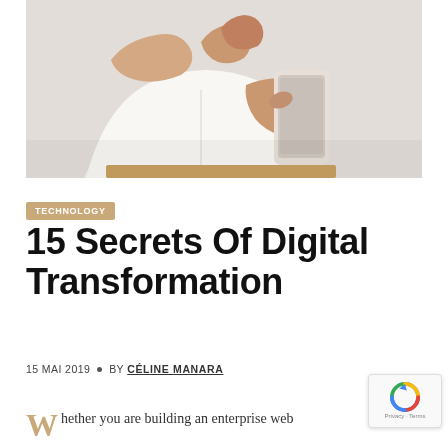[Figure (photo): Close-up of hands in white shirt using a smartphone, tapping the screen]
TECHNOLOGY
15 Secrets Of Digital Transformation
15 MAI 2019  •  BY CÉLINE MANARA
hether you are building an enterprise web